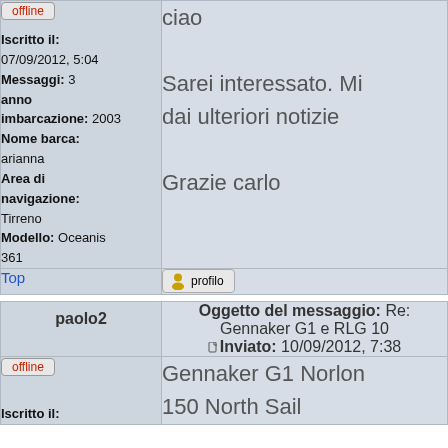offline
Iscritto il: 07/09/2012, 5:04
Messaggi: 3
anno imbarcazione: 2003
Nome barca: arianna
Area di navigazione: Tirreno
Modello: Oceanis 361
ciao
Sarei interessato. Mi dai ulteriori notizie
Grazie carlo
Top
profilo
paolo2
Oggetto del messaggio: Re: Gennaker G1 e RLG 10
Inviato: 10/09/2012, 7:38
offline
Iscritto il:
Gennaker G1 Norlon 150 North Sail